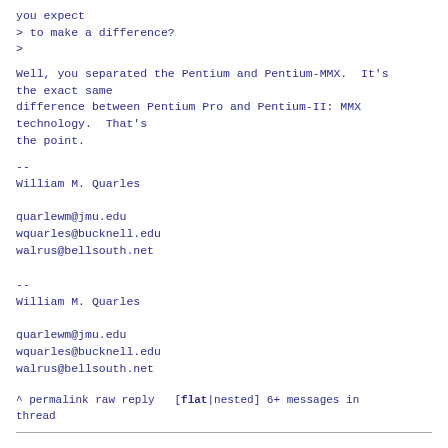you expect
> to make a difference?
>
Well, you separated the Pentium and Pentium-MMX.  It's the exact same
difference between Pentium Pro and Pentium-II: MMX technology.  That's
the point.
--
William M. Quarles

quarlewm@jmu.edu
wquarles@bucknell.edu
walrus@bellsouth.net
--
William M. Quarles

quarlewm@jmu.edu
wquarles@bucknell.edu
walrus@bellsouth.net
^ permalink raw reply   [flat|nested] 6+ messages in thread